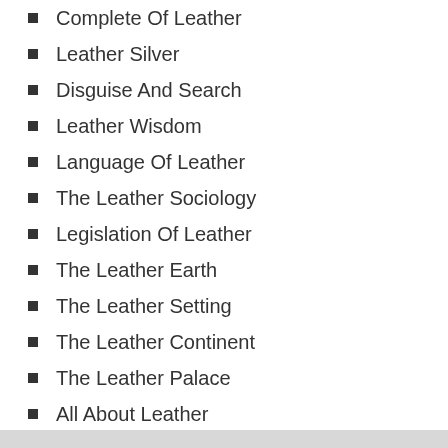Complete Of Leather
Leather Silver
Disguise And Search
Leather Wisdom
Language Of Leather
The Leather Sociology
Legislation Of Leather
The Leather Earth
The Leather Setting
The Leather Continent
The Leather Palace
All About Leather
The Leather Handicrafts